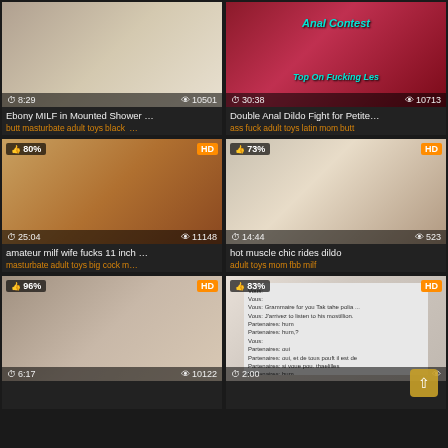[Figure (screenshot): Video thumbnail grid showing adult content videos with titles, tags, duration, and view counts]
Ebony MILF in Mounted Shower ...
butt masturbate adult toys black ...
Double Anal Dildo Fight for Petite...
ass fuck adult toys latin mom butt
amateur milf wife fucks 11 inch ...
masturbate adult toys big cock m...
hot muscle chic rides dildo
adult toys mom fbb milf
6:17 | 10122 views
2:00 | views